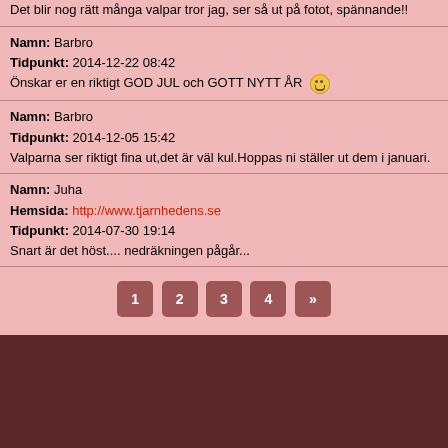Det blir nog rätt många valpar tror jag, ser så ut på fotot, spännande!!
Namn: Barbro
Tidpunkt: 2014-12-22 08:42
Önskar er en riktigt GOD JUL och GOTT NYTT ÅR 🙂
Namn: Barbro
Tidpunkt: 2014-12-05 15:42
Valparna ser riktigt fina ut,det är väl kul.Hoppas ni ställer ut dem i januari.
Namn: Juha
Hemsida: http://www.tjarnhedens.se
Tidpunkt: 2014-07-30 19:14
Snart är det höst.... nedräkningen pågår...
1 2 3 4 »
Copyright ©tjuvskyttans